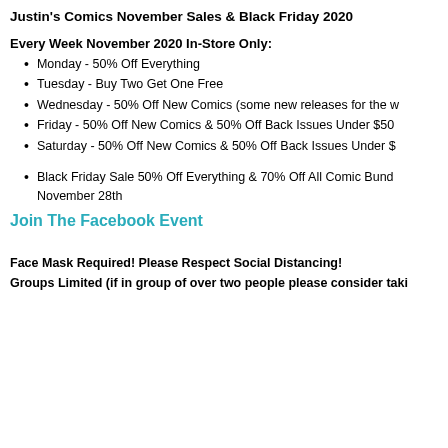Justin's Comics November Sales & Black Friday 2020
Every Week November 2020 In-Store Only:
Monday - 50% Off Everything
Tuesday - Buy Two Get One Free
Wednesday - 50% Off New Comics (some new releases for the w...
Friday - 50% Off New Comics & 50% Off Back Issues Under $50...
Saturday - 50% Off New Comics & 50% Off Back Issues Under $...
Black Friday Sale 50% Off Everything & 70% Off All Comic Bund... November 28th
Join The Facebook Event
Face Mask Required! Please Respect Social Distancing!
Groups Limited (if in group of over two people please consider taki...